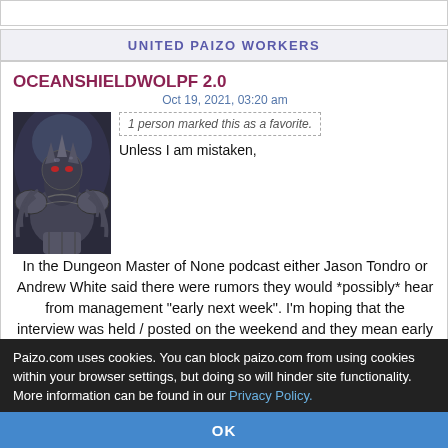UNITED PAIZO WORKERS
OCEANSHIELDWOLPF 2.0
Oct 19, 2021, 03:20 am
1 person marked this as a favorite.
[Figure (illustration): Avatar image of a fantasy armored creature, dark tones with mechanical/dragon features]
Unless I am mistaken,
In the Dungeon Master of None podcast either Jason Tondro or Andrew White said there were rumors they would *possibly* hear from management “early next week”. I’m hoping that the interview was held / posted on the weekend and they mean early this week.

Of course that is all union-recognition conversant, and does not directly reference management at all
Paizo.com uses cookies. You can block paizo.com from using cookies within your browser settings, but doing so will hinder site functionality. More information can be found in our Privacy Policy.
OK